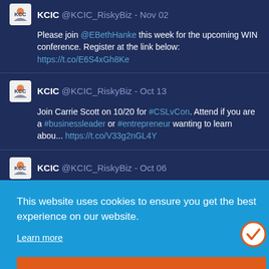KCIC @KCIC_RiskyBiz - Nov 02
Please join @EBethHanke this week for the upcoming WIN conference. Register at the link below:
https://t.co/E6S4xGh8Ke
KCIC @KCIC_RiskyBiz - Oct 13
Join Carrie Scott on 10/20 for #CSLvCon. Attend if you are a #businessleader or #entrepreneur wanting to learn abou... https://t.co/V33g2nGL4Y
KCIC @KCIC_RiskyBiz - Oct 06
This website uses cookies to ensure you get the best experience on our website.
Learn more
Got it!
Email Address*